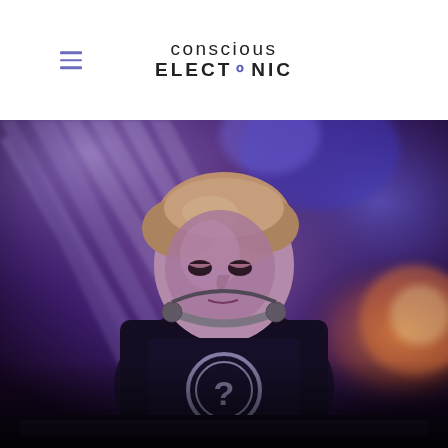conscious ELECTRONIC
[Figure (photo): A DJ performing at a club or concert, wearing headphones around his neck and a black t-shirt with a circular question mark logo. The background features dramatic purple and blue stage lighting with light beams radiating outward. The atmosphere is dark with colorful spotlights.]